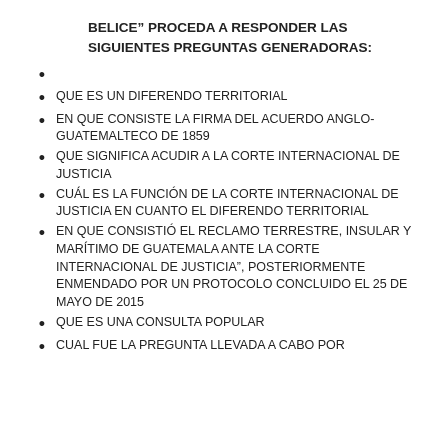BELICE" PROCEDA A RESPONDER LAS SIGUIENTES PREGUNTAS GENERADORAS:
QUE ES UN DIFERENDO TERRITORIAL
EN QUE CONSISTE LA FIRMA DEL ACUERDO ANGLO-GUATEMALTECO DE 1859
QUE SIGNIFICA ACUDIR A LA CORTE INTERNACIONAL DE JUSTICIA
CUÁL ES LA FUNCIÓN DE LA CORTE INTERNACIONAL DE JUSTICIA EN CUANTO EL DIFERENDO TERRITORIAL
EN QUE CONSISTIÓ EL RECLAMO TERRESTRE, INSULAR Y MARÍTIMO DE GUATEMALA ANTE LA CORTE INTERNACIONAL DE JUSTICIA", POSTERIORMENTE ENMENDADO POR UN PROTOCOLO CONCLUIDO EL 25 DE MAYO DE 2015
QUE ES UNA CONSULTA POPULAR
CUAL FUE LA PREGUNTA LLEVADA A CABO POR